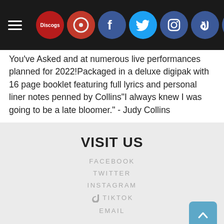Navigation bar with hamburger menu, Discogs icon, logo icon, Facebook, Twitter, Instagram, TikTok, Email icons
You've Asked and at numerous live performances planned for 2022!Packaged in a deluxe digipak with 16 page booklet featuring full lyrics and personal liner notes penned by Collins"I always knew I was going to be a late bloomer." - Judy Collins
VISIT US
FACEBOOK
TWITTER
INSTAGRAM
TIKTOK
EMAIL
2022 COPYRIGHT © CRIMINALATL